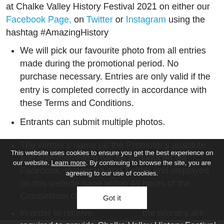at Chalke Valley History Festival 2021 on either our Facebook Page, on Twitter or Instagram using the hashtag #AmazingHistory
We will pick our favourite photo from all entries made during the promotional period. No purchase necessary. Entries are only valid if the entry is completed correctly in accordance with these Terms and Conditions.
Entrants can submit multiple photos.
The winner's name (at the Promoter's absolute and sole discretion) will be announced via Facebook, Instagram and Twitter and displayed on this website page within 48 hours of the Competition closing date.
In order to receive the winners are required to provide Chalke Valley History Festival with their full name and UK address. Should a winner not acknowledge receipt of their win, and
This website uses cookies to ensure you get the best experience on our website. Learn more. By continuing to browse the site, you are agreeing to our use of cookies.